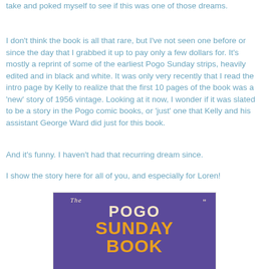take and poked myself to see if this was one of those dreams.
I don't think the book is all that rare, but I've not seen one before or since the day that I grabbed it up to pay only a few dollars for. It's mostly a reprint of some of the earliest Pogo Sunday strips, heavily edited and in black and white. It was only very recently that I read the intro page by Kelly to realize that the first 10 pages of the book was a 'new' story of 1956 vintage. Looking at it now, I wonder if it was slated to be a story in the Pogo comic books, or 'just' one that Kelly and his assistant George Ward did just for this book.
And it's funny. I haven't had that recurring dream since.
I show the story here for all of you, and especially for Loren!
[Figure (photo): Book cover of 'The Pogo Sunday Book' with purple background and gold/yellow text]